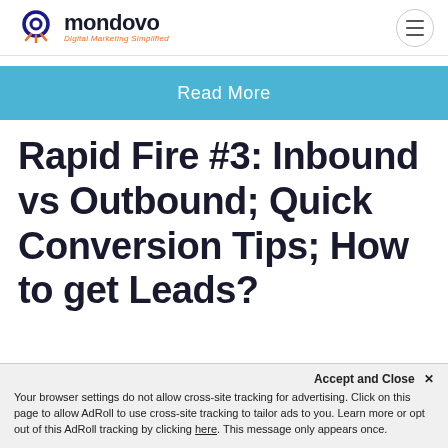mondovo Digital Marketing Simplified
Read More
Rapid Fire #3: Inbound vs Outbound; Quick Conversion Tips; How to get Leads?
Accept and Close ×
Your browser settings do not allow cross-site tracking for advertising. Click on this page to allow AdRoll to use cross-site tracking to tailor ads to you. Learn more or opt out of this AdRoll tracking by clicking here. This message only appears once.